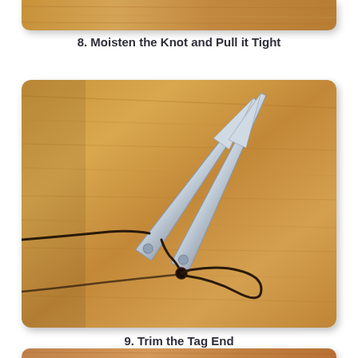[Figure (photo): Top portion of a photo showing a wooden surface, partially visible at the top of the page (step 8 image cropped).]
8. Moisten the Knot and Pull it Tight
[Figure (photo): Photo of scissors cutting a dark fishing line/cord near a small knot on a warm wooden surface. The knot has a loop visible to the right.]
9. Trim the Tag End
[Figure (photo): Bottom partial photo showing a warm orange-brown wooden surface (step 10 image, cropped at page bottom).]